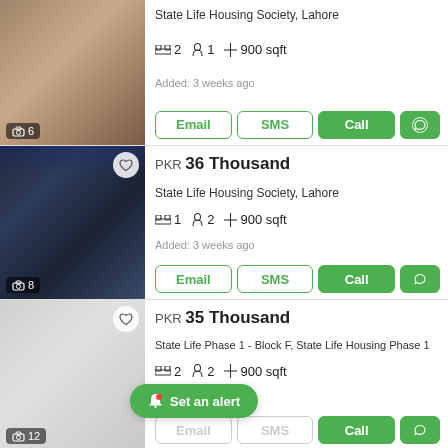[Figure (photo): Interior room photo with wooden flooring, listing 1]
State Life Housing Society, Lahore
2 beds  1 bath  900 sqft
Added: 3 weeks ago
Email  SMS  Call  WhatsApp
[Figure (photo): Modern interior room with blue ceiling lights, listing 2, PKR 36 Thousand]
PKR 36 Thousand
State Life Housing Society, Lahore
1 bed  2 baths  900 sqft
Added: 3 weeks ago
Email  SMS  Call  WhatsApp
[Figure (photo): White interior room with window and mirror, listing 3, PKR 35 Thousand]
PKR 35 Thousand
State Life Phase 1 - Block F, State Life Housing Phase 1
2 beds  2 baths  900 sqft
Added: 3 weeks ago (partially visible)
Set an alert
Call  WhatsApp
[Figure (photo): Partial next listing image at bottom (DHA Phase)]